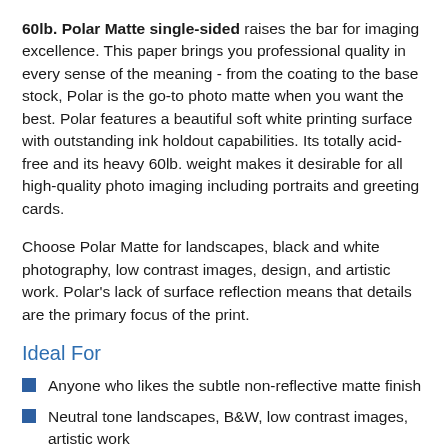60lb. Polar Matte single-sided raises the bar for imaging excellence. This paper brings you professional quality in every sense of the meaning - from the coating to the base stock, Polar is the go-to photo matte when you want the best. Polar features a beautiful soft white printing surface with outstanding ink holdout capabilities. Its totally acid-free and its heavy 60lb. weight makes it desirable for all high-quality photo imaging including portraits and greeting cards.
Choose Polar Matte for landscapes, black and white photography, low contrast images, design, and artistic work. Polar's lack of surface reflection means that details are the primary focus of the print.
Ideal For
Anyone who likes the subtle non-reflective matte finish
Neutral tone landscapes, B&W, low contrast images, artistic work